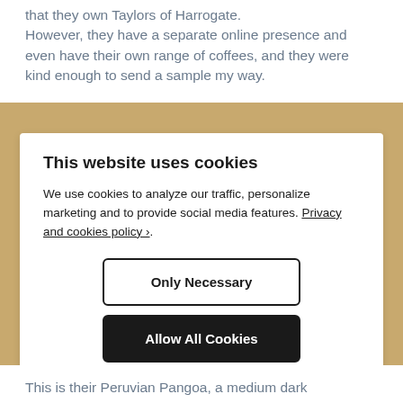that they own Taylors of Harrogate. However, they have a separate online presence and even have their own range of coffees, and they were kind enough to send a sample my way.
This website uses cookies
We use cookies to analyze our traffic, personalize marketing and to provide social media features. Privacy and cookies policy ›.
Only Necessary
Allow All Cookies
Configure Settings ›
This is their Peruvian Pangoa, a medium dark